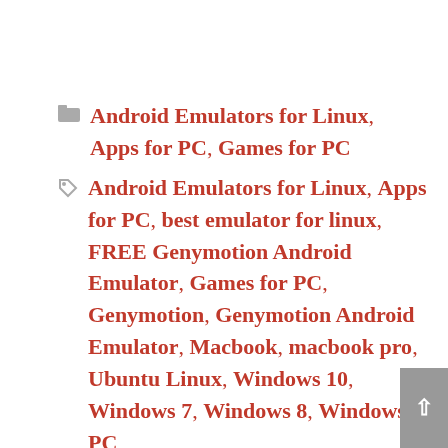Android Emulators for Linux, Apps for PC, Games for PC
Android Emulators for Linux, Apps for PC, best emulator for linux, FREE Genymotion Android Emulator, Games for PC, Genymotion, Genymotion Android Emulator, Macbook, macbook pro, Ubuntu Linux, Windows 10, Windows 7, Windows 8, Windows PC
< What is Bluestacks 5 and why you must install it on your PC Windows, and MacBook [2022]